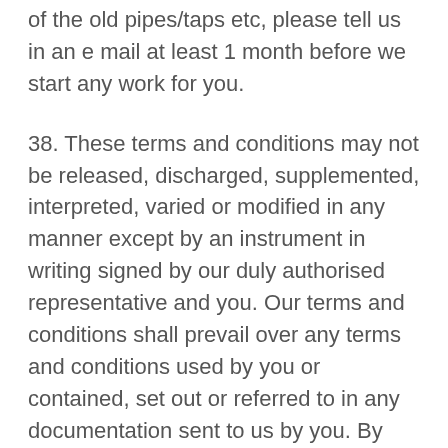of the old pipes/taps etc, please tell us in an e mail at least 1 month before we start any work for you.
38. These terms and conditions may not be released, discharged, supplemented, interpreted, varied or modified in any manner except by an instrument in writing signed by our duly authorised representative and you. Our terms and conditions shall prevail over any terms and conditions used by you or contained, set out or referred to in any documentation sent to us by you. By entering into a contract with us you agree irrevocably to waive the application of any of these terms and conditions.
39. These terms and conditions...